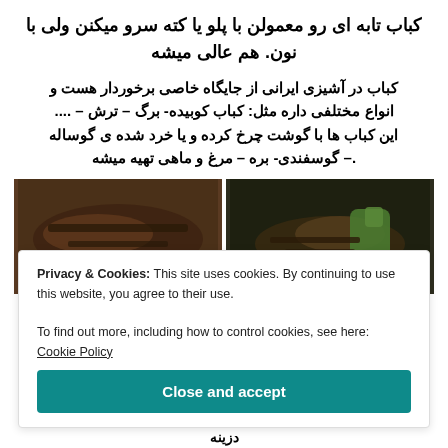کباب تابه ای رو معمولن با پلو یا کته سرو میکنن ولی با نون هم عالی میشه.
کباب در آشیزی ایرانی از جایگاه خاصی برخوردار هست و انواع مختلفی داره مثل: کباب کوبیده- برگ – ترش – .... این کباب ها با گوشت چرخ کرده و یا خرد شده ی گوساله – گوسفندی- بره – مرغ و ماهی تهیه میشه.
[Figure (photo): Two side-by-side food photos showing grilled kebab/meat in dark pans, one with green pepper visible.]
Privacy & Cookies: This site uses cookies. By continuing to use this website, you agree to their use.
To find out more, including how to control cookies, see here: Cookie Policy
Close and accept
دزینه